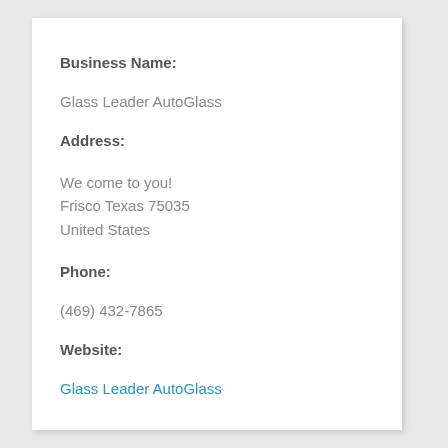Business Name:
Glass Leader AutoGlass
Address:
We come to you!
Frisco Texas 75035
United States
Phone:
(469) 432-7865
Website:
Glass Leader AutoGlass